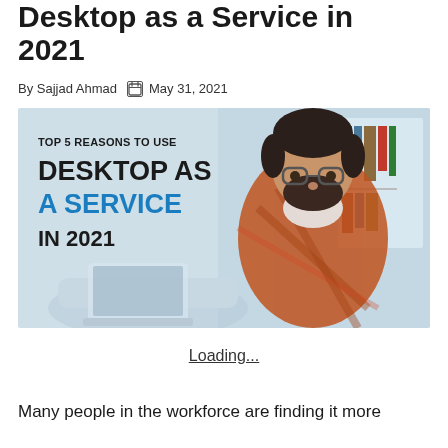Desktop as a Service in 2021
By Sajjad Ahmad  May 31, 2021
[Figure (illustration): Promotional graphic showing a bearded man wearing glasses and a plaid shirt working on a laptop. Text overlay reads: TOP 5 REASONS TO USE DESKTOP AS A SERVICE IN 2021. Background is light blue with bookshelves.]
Loading...
Many people in the workforce are finding it more